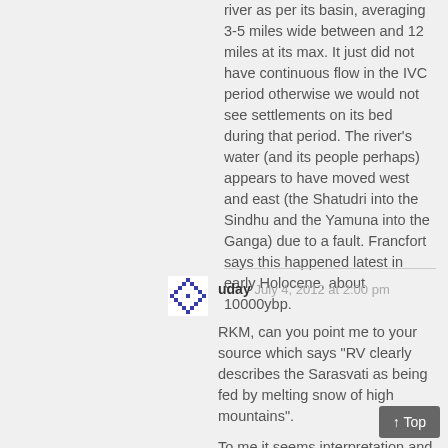river as per its basin, averaging 3-5 miles wide between and 12 miles at its max. It just did not have continuous flow in the IVC period otherwise we would not see settlements on its bed during that period. The river's water (and its people perhaps) appears to have moved west and east (the Shatudri into the Sindhu and the Yamuna into the Ganga) due to a fault. Francfort says this happened latest in early Holocene, about 10000ybp.
[Figure (other): User avatar icon — blue decorative geometric pattern]
uday July 4, 2012 at 2:00 pm
RKM, can you point me to your source which says "RV clearly describes the Sarasvati as being fed by melting snow of high mountains".
To me it seems interpretation and not that explicit. Actually I find that Giosan paper strengthens the case of identifying Ghaggar-Hakra-Nara river with Sarasvati. They showed that river was indeed major and active during harappa time and confirms that Ghaggar region was main center